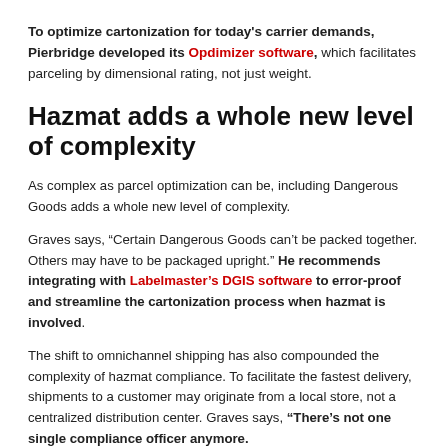To optimize cartonization for today's carrier demands, Pierbridge developed its Opdimizer software, which facilitates parceling by dimensional rating, not just weight.
Hazmat adds a whole new level of complexity
As complex as parcel optimization can be, including Dangerous Goods adds a whole new level of complexity.
Graves says, “Certain Dangerous Goods can’t be packed together. Others may have to be packaged upright.” He recommends integrating with Labelmaster’s DGIS software to error-proof and streamline the cartonization process when hazmat is involved.
The shift to omnichannel shipping has also compounded the complexity of hazmat compliance. To facilitate the fastest delivery, shipments to a customer may originate from a local store, not a centralized distribution center. Graves says, “There’s not one single compliance officer anymore.